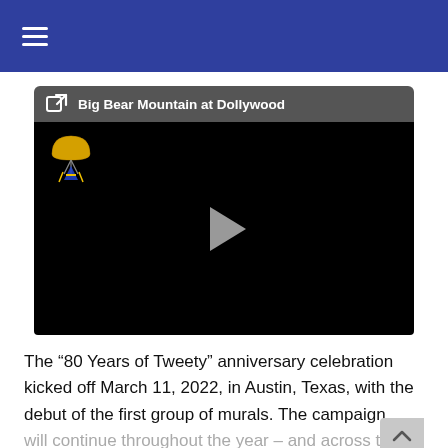≡
[Figure (screenshot): Embedded video player with title bar reading 'Big Bear Mountain at Dollywood'. The video is black with a small logo (parachute/roller coaster icon in yellow and blue) in the top-left corner and a play button triangle in the center.]
The ‘80 Years of Tweety” anniversary celebration kicked off March 11, 2022, in Austin, Texas, with the debut of the first group of murals. The campaign will continue throughout the year – and across th